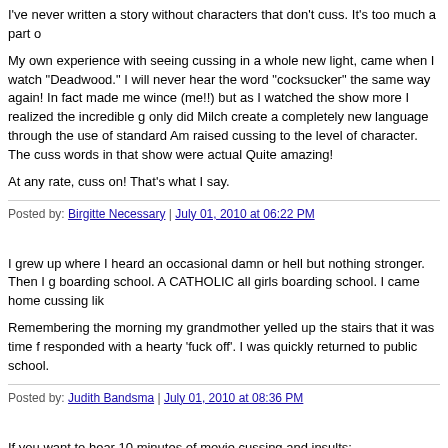I've never written a story without characters that don't cuss. It's too much a part o...
My own experience with seeing cussing in a whole new light, came when I watch "Deadwood." I will never hear the word "cocksucker" the same way again! In fact... made me wince (me!!) but as I watched the show more I realized the incredible g... only did Milch create a completely new language through the use of standard Am... raised cussing to the level of character. The cuss words in that show were actual... Quite amazing!
At any rate, cuss on! That's what I say.
Posted by: Birgitte Necessary | July 01, 2010 at 06:22 PM
I grew up where I heard an occasional damn or hell but nothing stronger. Then I ... boarding school. A CATHOLIC all girls boarding school. I came home cussing lik...
Remembering the morning my grandmother yelled up the stairs that it was time f... responded with a hearty 'fuck off'. I was quickly returned to public school.
Posted by: Judith Bandsma | July 01, 2010 at 08:36 PM
If you want to hear 10 minutes of movie cussing and insults:
http://www.youtube.com/watch?v=PSEYXWmEse8&feature=player_embedded
Posted by: gaylin in vancouver | July 01, 2010 at 08:37 PM